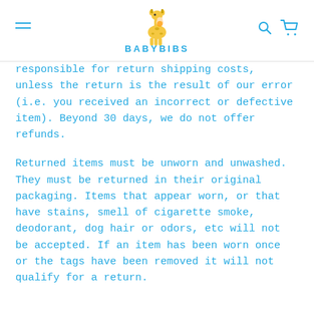BABYBIBS
responsible for return shipping costs, unless the return is the result of our error (i.e. you received an incorrect or defective item). Beyond 30 days, we do not offer refunds.
Returned items must be unworn and unwashed. They must be returned in their original packaging. Items that appear worn, or that have stains, smell of cigarette smoke, deodorant, dog hair or odors, etc will not be accepted. If an item has been worn once or the tags have been removed it will not qualify for a return.